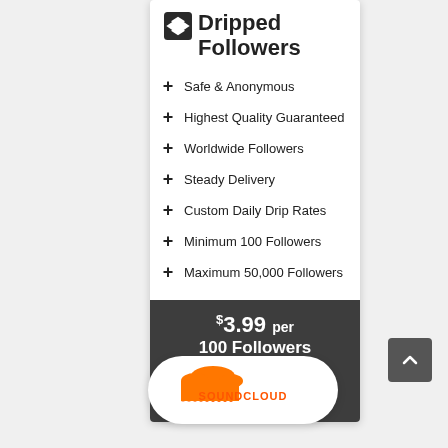Dripped Followers
Safe & Anonymous
Highest Quality Guaranteed
Worldwide Followers
Steady Delivery
Custom Daily Drip Rates
Minimum 100 Followers
Maximum 50,000 Followers
$3.99 per 100 Followers
View
[Figure (logo): SoundCloud logo inside a white rounded pill/badge shape]